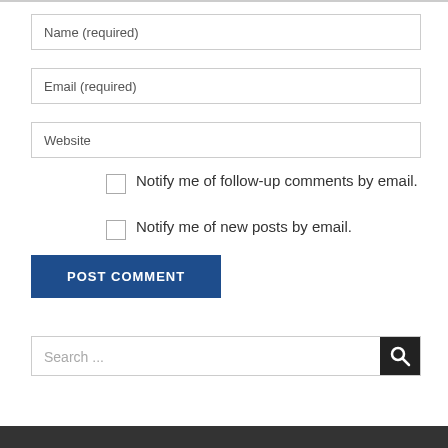Name (required)
Email (required)
Website
Notify me of follow-up comments by email.
Notify me of new posts by email.
POST COMMENT
Search ...